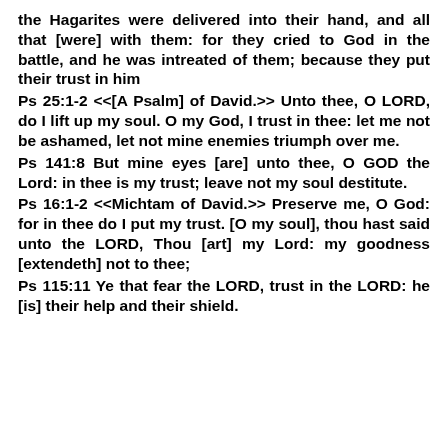the Hagarites were delivered into their hand, and all that [were] with them: for they cried to God in the battle, and he was intreated of them; because they put their trust in him
Ps 25:1-2 <<[A Psalm] of David.>> Unto thee, O LORD, do I lift up my soul. O my God, I trust in thee: let me not be ashamed, let not mine enemies triumph over me.
Ps 141:8 But mine eyes [are] unto thee, O GOD the Lord: in thee is my trust; leave not my soul destitute.
Ps 16:1-2 <<Michtam of David.>> Preserve me, O God: for in thee do I put my trust. [O my soul], thou hast said unto the LORD, Thou [art] my Lord: my goodness [extendeth] not to thee;
Ps 115:11 Ye that fear the LORD, trust in the LORD: he [is] their help and their shield.